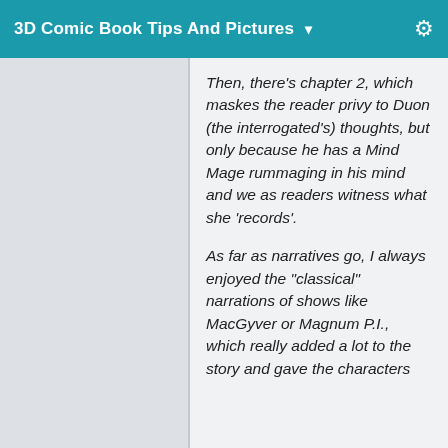3D Comic Book Tips And Pictures
Then, there's chapter 2, which maskes the reader privy to Duon (the interrogated's) thoughts, but only because he has a Mind Mage rummaging in his mind and we as readers witness what she 'records'.
As far as narratives go, I always enjoyed the "classical" narrations of shows like MacGyver or Magnum P.I., which really added a lot to the story and gave the characters more depth, as they really